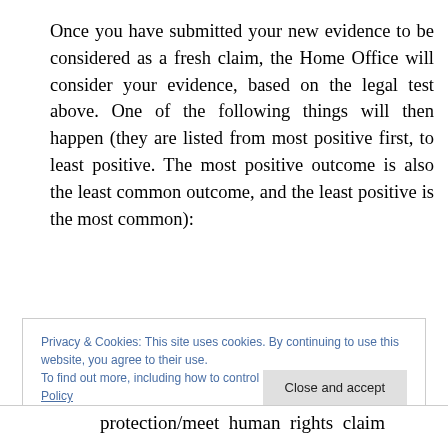Once you have submitted your new evidence to be considered as a fresh claim, the Home Office will consider your evidence, based on the legal test above. One of the following things will then happen (they are listed from most positive first, to least positive. The most positive outcome is also the least common outcome, and the least positive is the most common):
Privacy & Cookies: This site uses cookies. By continuing to use this website, you agree to their use.
To find out more, including how to control cookies, see here: Cookie Policy
protection/meet human rights claim